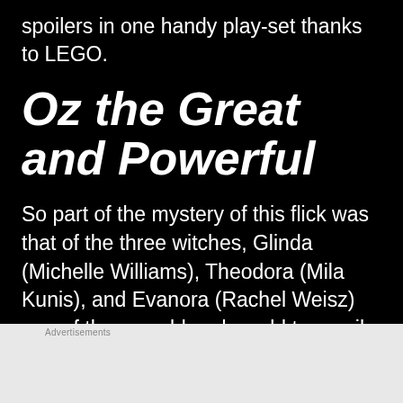spoilers in one handy play-set thanks to LEGO.
Oz the Great and Powerful
So part of the mystery of this flick was that of the three witches, Glinda (Michelle Williams), Theodora (Mila Kunis), and Evanora (Rachel Weisz) one of them could and would turn evil in
[Figure (infographic): DuckDuckGo advertisement banner: orange left panel with text 'Search, browse, and email with more privacy. All in One Free App' and black right panel with DuckDuckGo duck logo and brand name]
Advertisements